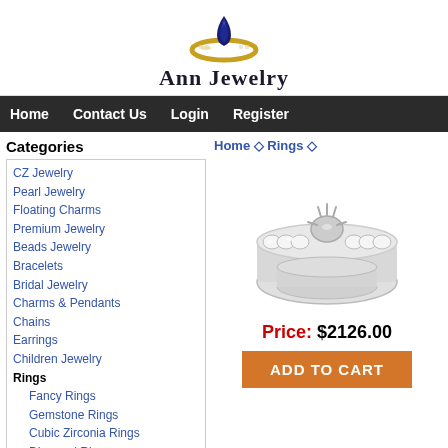[Figure (logo): Ann Jewelry logo with gold ring and blue sapphire gem on top, with text 'Ann Jewelry' in bold serif font below]
Home  Contact Us  Login  Register
Categories
CZ Jewelry
Pearl Jewelry
Floating Charms
Premium Jewelry
Beads Jewelry
Bracelets
Bridal Jewelry
Charms & Pendants
Chains
Earrings
Children Jewelry
Rings
Fancy Rings
Gemstone Rings
Cubic Zirconia Rings
Diamond Rings
Pearl Rings
Assorted Rings
Stackable Rings
Home ◇ Rings ◇
[Figure (photo): A platinum/white gold diamond engagement ring set with channel-set diamonds on the band and a pronged center stone setting (semi-mount), shown from a side angle.]
Price: $2126.00
ADD TO CART